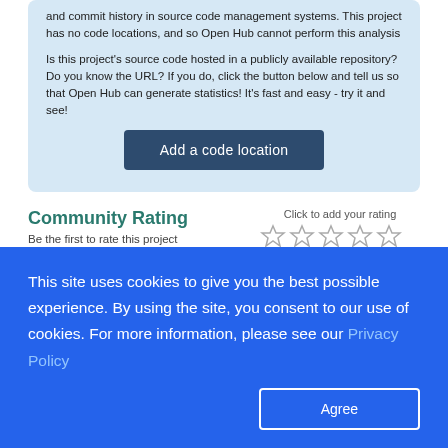and commit history in source code management systems. This project has no code locations, and so Open Hub cannot perform this analysis
Is this project's source code hosted in a publicly available repository? Do you know the URL? If you do, click the button below and tell us so that Open Hub can generate statistics! It's fast and easy - try it and see!
Add a code location
Community Rating
Be the first to rate this project
Click to add your rating
Review this Project!
Sample Ohloh Analysis
Following are examples of the kinds of analysis that Ohloh provid
This site uses cookies to give you the best possible experience. By using the site, you consent to our use of cookies. For more information, please see our Privacy Policy
Agree